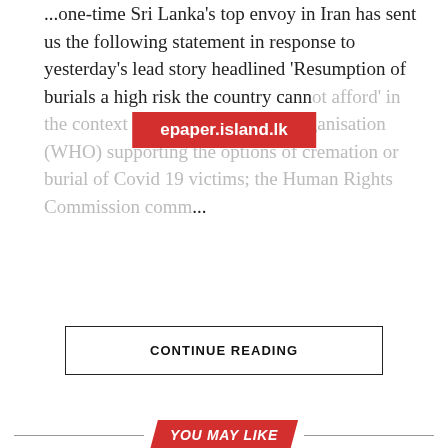...one-time Sri Lanka's top envoy in Iran has sent us the following statement in response to yesterday's lead story headlined 'Resumption of burials a high risk the country cannot afford' in the context of the World Health Organisation (WHO) supporting the options of cremation or burial of Covid 19 victims; the Human Rights Commission...
[Figure (other): Red banner watermark overlay reading 'epaper.island.lk']
CONTINUE READING
YOU MAY LIKE
CLICK TO COMMENT
NEWS
Rebels to launch new alliance, initiate talks with GL-Dallas group